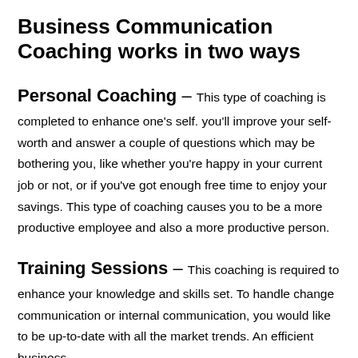Business Communication Coaching works in two ways
Personal Coaching – This type of coaching is completed to enhance one's self. you'll improve your self-worth and answer a couple of questions which may be bothering you, like whether you're happy in your current job or not, or if you've got enough free time to enjoy your savings. This type of coaching causes you to be a more productive employee and also a more productive person.
Training Sessions – This coaching is required to enhance your knowledge and skills set. To handle change communication or internal communication, you would like to be up-to-date with all the market trends. An efficient business